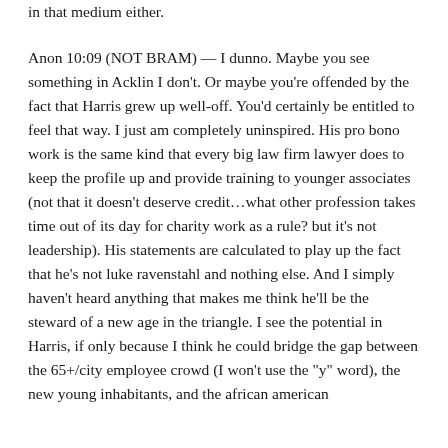in that medium either.
Anon 10:09 (NOT BRAM) — I dunno. Maybe you see something in Acklin I don't. Or maybe you're offended by the fact that Harris grew up well-off. You'd certainly be entitled to feel that way. I just am completely uninspired. His pro bono work is the same kind that every big law firm lawyer does to keep the profile up and provide training to younger associates (not that it doesn't deserve credit…what other profession takes time out of its day for charity work as a rule? but it's not leadership). His statements are calculated to play up the fact that he's not luke ravenstahl and nothing else. And I simply haven't heard anything that makes me think he'll be the steward of a new age in the triangle. I see the potential in Harris, if only because I think he could bridge the gap between the 65+/city employee crowd (I won't use the "y" word), the new young inhabitants, and the african american